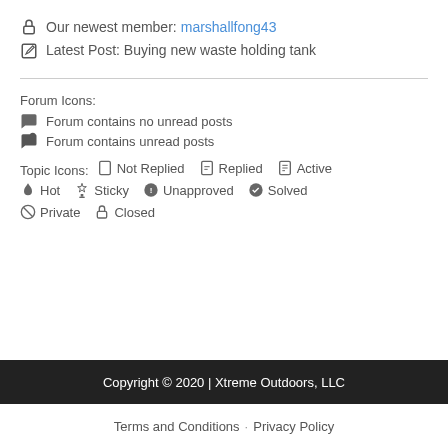Our newest member: marshallfong43
Latest Post: Buying new waste holding tank
Forum Icons:
Forum contains no unread posts
Forum contains unread posts
Topic Icons: Not Replied  Replied  Active  Hot  Sticky  Unapproved  Solved  Private  Closed
Copyright © 2020 | Xtreme Outdoors, LLC
Terms and Conditions · Privacy Policy